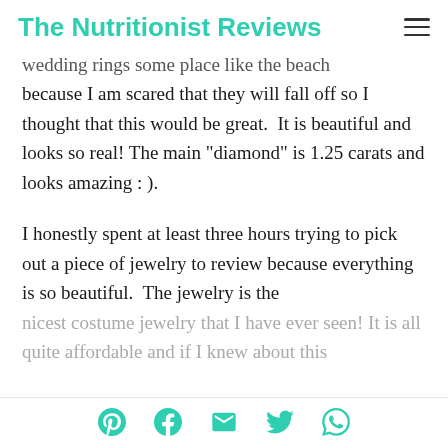The Nutritionist Reviews
wedding rings some place like the beach because I am scared that they will fall off so I thought that this would be great.  It is beautiful and looks so real! The main "diamond" is 1.25 carats and looks amazing : ).
I honestly spent at least three hours trying to pick out a piece of jewelry to review because everything is so beautiful.  The jewelry is the nicest costume jewelry that I have ever seen! It is all quite affordable and if I knew about this
Social share icons: Pinterest, Facebook, Email, Twitter, WhatsApp